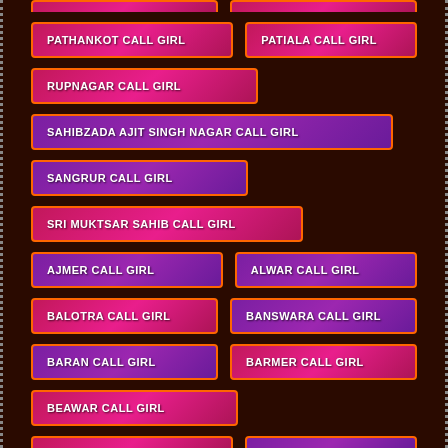PATHANKOT CALL GIRL
PATIALA CALL GIRL
RUPNAGAR CALL GIRL
SAHIBZADA AJIT SINGH NAGAR CALL GIRL
SANGRUR CALL GIRL
SRI MUKTSAR SAHIB CALL GIRL
AJMER CALL GIRL
ALWAR CALL GIRL
BALOTRA CALL GIRL
BANSWARA CALL GIRL
BARAN CALL GIRL
BARMER CALL GIRL
BEAWAR CALL GIRL